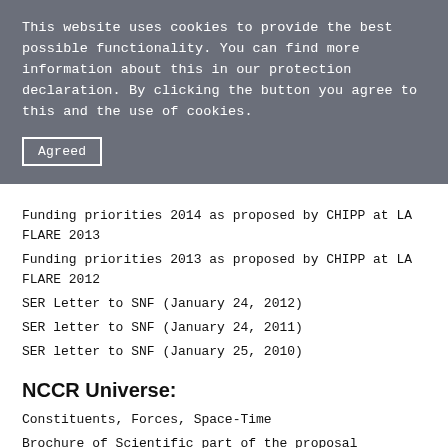This website uses cookies to provide the best possible functionality. You can find more information about this in our protection declaration. By clicking the button you agree to this and the use of cookies.
Agreed
Funding priorities 2014 as proposed by CHIPP at LA FLARE 2013
Funding priorities 2013 as proposed by CHIPP at LA FLARE 2012
SER Letter to SNF (January 24, 2012)
SER letter to SNF (January 24, 2011)
SER letter to SNF (January 25, 2010)
NCCR Universe:
Constituents, Forces, Space-Time
Brochure of Scientific part of the proposal submitted in Jan.